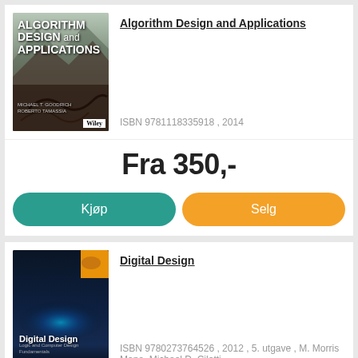[Figure (illustration): Book cover for Algorithm Design and Applications with mountain/nature imagery and white text]
Algorithm Design and Applications
ISBN 9781118335918 , 2014
Fra 350,-
Kjøp
Selg
[Figure (illustration): Book cover for Digital Design with dark blue background and colorful light effect]
Digital Design
ISBN 9780273764526 , 2012 , 5. utgave , M. Morris Mano, Michael D. Ciletti
Fra 100,-